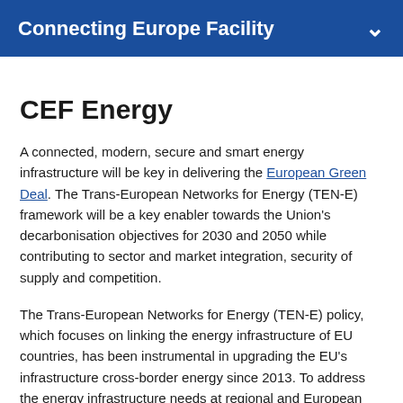Connecting Europe Facility
CEF Energy
A connected, modern, secure and smart energy infrastructure will be key in delivering the European Green Deal. The Trans-European Networks for Energy (TEN-E) framework will be a key enabler towards the Union's decarbonisation objectives for 2030 and 2050 while contributing to sector and market integration, security of supply and competition.
The Trans-European Networks for Energy (TEN-E) policy, which focuses on linking the energy infrastructure of EU countries, has been instrumental in upgrading the EU's infrastructure cross-border energy since 2013. To address the energy infrastructure needs at regional and European level, the TEN-E policy identifies priority